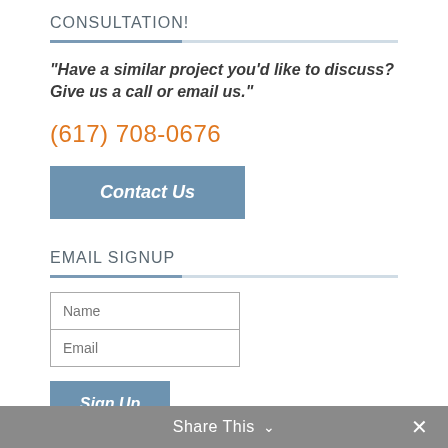CONSULTATION!
“Have a similar project you’d like to discuss? Give us a call or email us.”
(617) 708-0676
Contact Us
EMAIL SIGNUP
Name
Email
Sign Up
Share This ⌄  ×